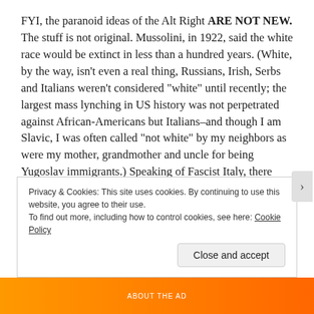FYI, the paranoid ideas of the Alt Right ARE NOT NEW. The stuff is not original. Mussolini, in 1922, said the white race would be extinct in less than a hundred years. (White, by the way, isn't even a real thing, Russians, Irish, Serbs and Italians weren't considered “white” until recently; the largest mass lynching in US history was not perpetrated against African-Americans but Italians–and though I am Slavic, I was often called “not white” by my neighbors as were my mother, grandmother and uncle for being Yugoslav immigrants.) Speaking of Fascist Italy, there were a number of fascist Jews who supported Mussolini. It was only when Hitler told Mussolini to kill Jews that this group was so
Privacy & Cookies: This site uses cookies. By continuing to use this website, you agree to their use.
To find out more, including how to control cookies, see here: Cookie Policy
Close and accept